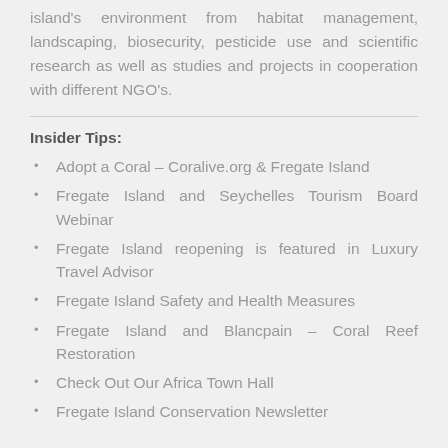island's environment from habitat management, landscaping, biosecurity, pesticide use and scientific research as well as studies and projects in cooperation with different NGO's.
Insider Tips:
Adopt a Coral – Coralive.org & Fregate Island
Fregate Island and Seychelles Tourism Board Webinar
Fregate Island reopening is featured in Luxury Travel Advisor
Fregate Island Safety and Health Measures
Fregate Island and Blancpain – Coral Reef Restoration
Check Out Our Africa Town Hall
Fregate Island Conservation Newsletter